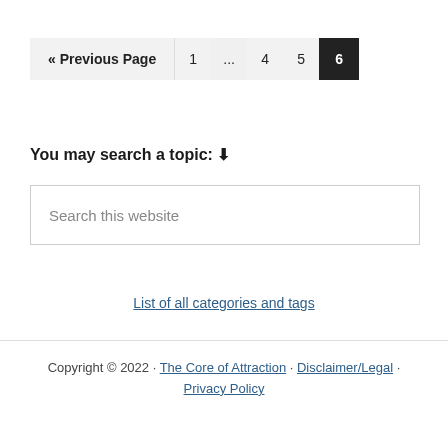« Previous Page  1  ...  4  5  6
You may search a topic: ↓
Search this website
List of all categories and tags
Copyright © 2022 · The Core of Attraction · Disclaimer/Legal · Privacy Policy